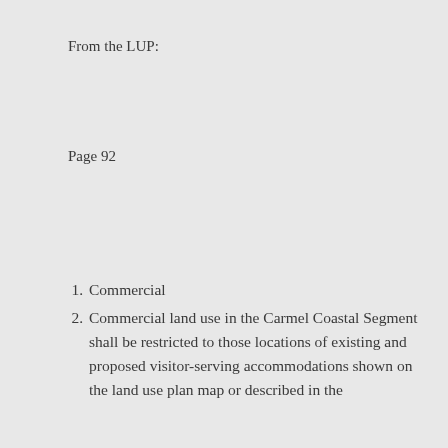From the LUP:
Page 92
Commercial
Commercial land use in the Carmel Coastal Segment shall be restricted to those locations of existing and proposed visitor-serving accommodations shown on the land use plan map or described in the